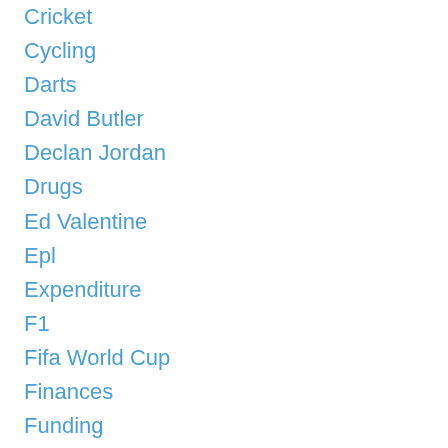Cricket
Cycling
Darts
David Butler
Declan Jordan
Drugs
Ed Valentine
Epl
Expenditure
F1
Fifa World Cup
Finances
Funding
Gaa
Gaelic Games
Gambling
Game Theory
Gary Burns
Geography
Golf
Greyhound Racing